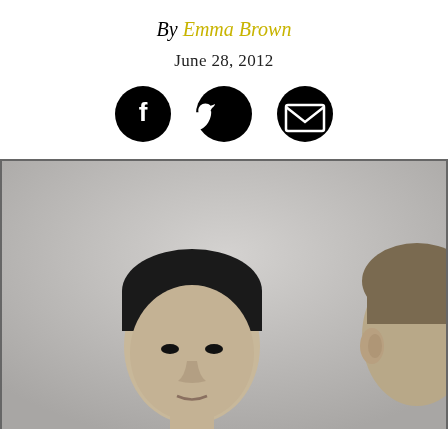By Emma Brown
June 28, 2012
[Figure (other): Social share icons: Facebook, Twitter, Email]
[Figure (photo): Black and white photograph showing two people, one facing forward with dark hair, another partially visible on the right side with lighter hair]